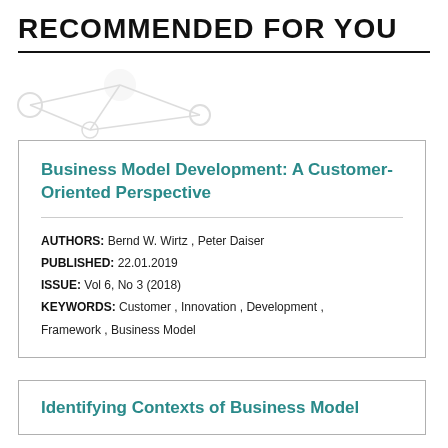RECOMMENDED FOR YOU
Business Model Development: A Customer-Oriented Perspective
AUTHORS: Bernd W. Wirtz , Peter Daiser
PUBLISHED: 22.01.2019
ISSUE: Vol 6, No 3 (2018)
KEYWORDS: Customer , Innovation , Development , Framework , Business Model
Identifying Contexts of Business Model